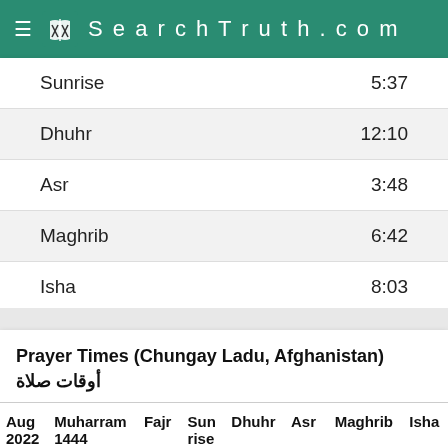SearchTruth.com
| Prayer | Time |
| --- | --- |
| Sunrise | 5:37 |
| Dhuhr | 12:10 |
| Asr | 3:48 |
| Maghrib | 6:42 |
| Isha | 8:03 |
Prayer Times (Chungay Ladu, Afghanistan) أوقات صلاة
| Aug 2022 | Muharram 1444 | Fajr | Sun rise | Dhuhr | Asr | Maghrib | Isha |
| --- | --- | --- | --- | --- | --- | --- | --- |
| 1 | 3 | 3:50 | 5:21 | 12:14 | 3:55 | 7:06 | 8:33 |